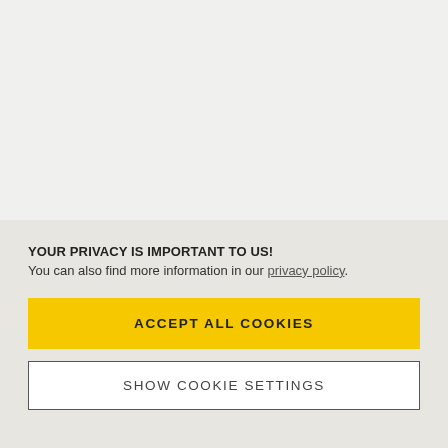YOUR PRIVACY IS IMPORTANT TO US! You can also find more information in our privacy policy.
ACCEPT ALL COOKIES
SHOW COOKIE SETTINGS